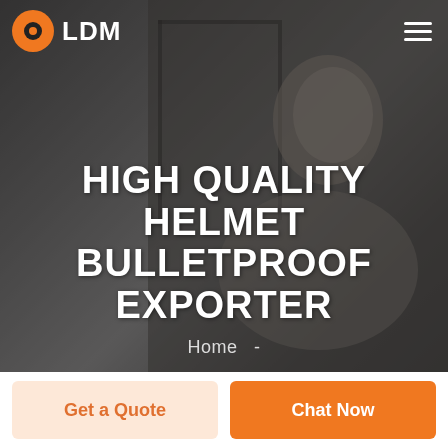LDM
HIGH QUALITY HELMET BULLETPROOF EXPORTER
Home  -
Get a Quote
Chat Now